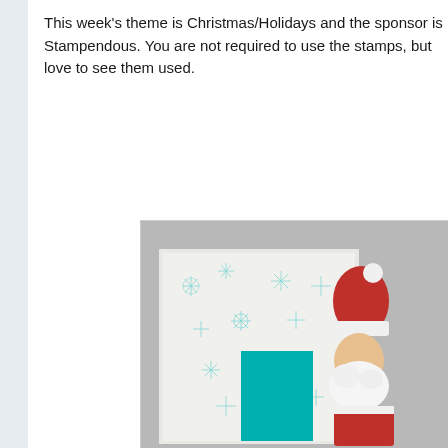This week's theme is Christmas/Holidays and the sponsor is Stampendous. You are not required to use the stamps, but love to see them used.
[Figure (photo): A handmade Christmas card featuring a white background with teal/turquoise snowflake stamp patterns, a teal rectangle panel, and a partially visible stamped Santa Claus image with red hat and white beard on the right side. The card is photographed against a gray background.]